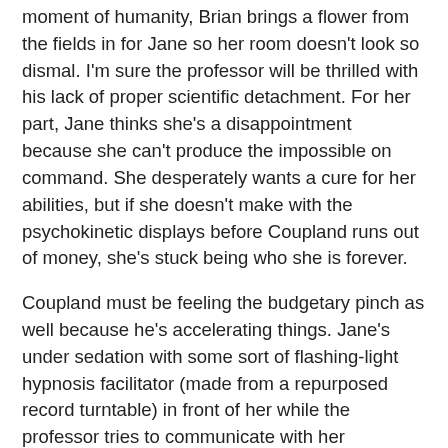moment of humanity, Brian brings a flower from the fields in for Jane so her room doesn't look so dismal. I'm sure the professor will be thrilled with his lack of proper scientific detachment. For her part, Jane thinks she's a disappointment because she can't produce the impossible on command. She desperately wants a cure for her abilities, but if she doesn't make with the psychokinetic displays before Coupland runs out of money, she's stuck being who she is forever.
Coupland must be feeling the budgetary pinch as well because he's accelerating things. Jane's under sedation with some sort of flashing-light hypnosis facilitator (made from a repurposed record turntable) in front of her while the professor tries to communicate with her subconscious and get it dancing for him. Jane says she's alone while Coupland tells her she isn't alone in that darkness, but when he starts to verbally abuse Jane for her lack of cooperation the EMF reader goes off and something knocks the camera out of Brian's hand. Outside, afterwards, Brian is pressed into service writing a toast for the group to celebrate their success. Everyone drinks to Jane (and Krissi says he must